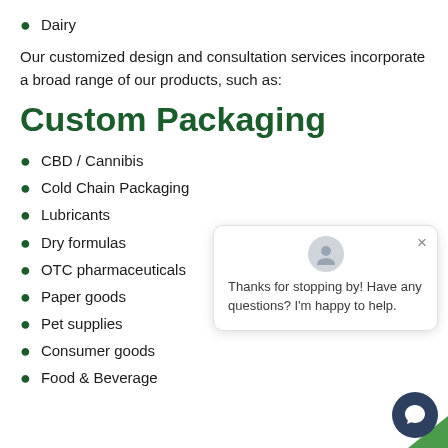Dairy
Our customized design and consultation services incorporate a broad range of our products, such as:
Custom Packaging
CBD / Cannibis
Cold Chain Packaging
Lubricants
Dry formulas
OTC pharmaceuticals
Paper goods
Pet supplies
Consumer goods
Food & Beverage
[Figure (screenshot): Chat popup widget with avatar icon, close button (×), and message: 'Thanks for stopping by! Have any questions? I'm happy to help.' alongside a dark blue circular chat button.]